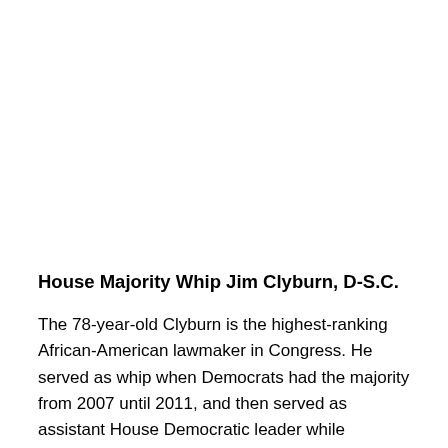House Majority Whip Jim Clyburn, D-S.C.
The 78-year-old Clyburn is the highest-ranking African-American lawmaker in Congress. He served as whip when Democrats had the majority from 2007 until 2011, and then served as assistant House Democratic leader while Democrats were in the minority — a post Pelosi created